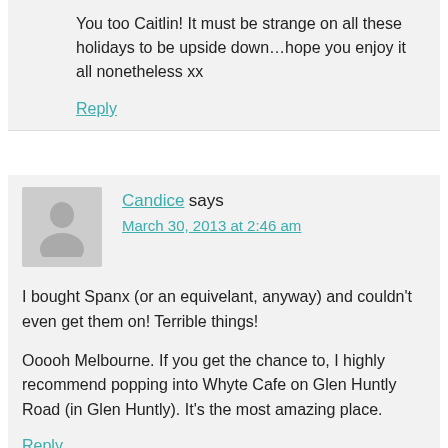You too Caitlin! It must be strange on all these holidays to be upside down…hope you enjoy it all nonetheless xx
Reply
Candice says March 30, 2013 at 2:46 am
I bought Spanx (or an equivelant, anyway) and couldn't even get them on! Terrible things!
Ooooh Melbourne. If you get the chance to, I highly recommend popping into Whyte Cafe on Glen Huntly Road (in Glen Huntly). It's the most amazing place.
Reply